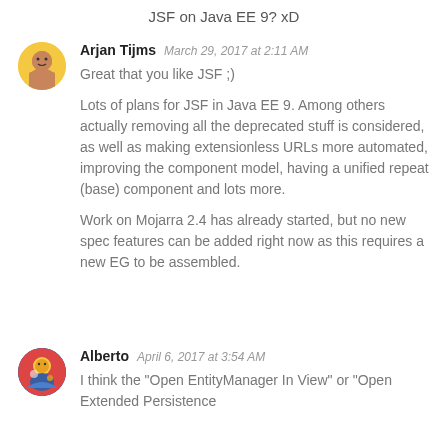JSF on Java EE 9? xD
Arjan Tijms  March 29, 2017 at 2:11 AM

Great that you like JSF ;)

Lots of plans for JSF in Java EE 9. Among others actually removing all the deprecated stuff is considered, as well as making extensionless URLs more automated, improving the component model, having a unified repeat (base) component and lots more.

Work on Mojarra 2.4 has already started, but no new spec features can be added right now as this requires a new EG to be assembled.
Alberto  April 6, 2017 at 3:54 AM

I think the "Open EntityManager In View" or "Open Extended Persistence